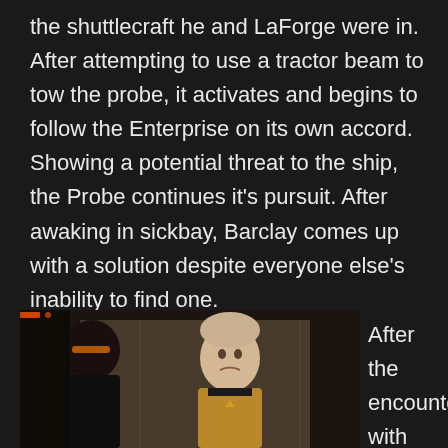the shuttlecraft he and LaForge were in.  After attempting to use a tractor beam to tow the probe, it activates and begins to follow the Enterprise on its own accord.  Showing a potential threat to the ship, the Probe continues it's pursuit.  After awaking in sickbay, Barclay comes up with a solution despite everyone else's inability to find one.
[Figure (photo): Two Star Trek TNG characters in a scene: one in dark uniform with VISOR (LaForge) facing away from camera, and another (Barclay) in gold/yellow uniform facing forward with a surprised expression.]
After the encounter with the probe,